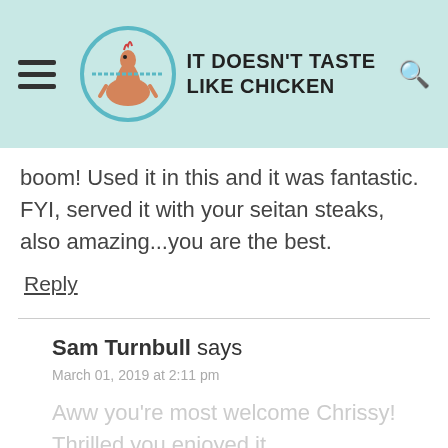IT DOESN'T TASTE LIKE CHICKEN
boom! Used it in this and it was fantastic. FYI, served it with your seitan steaks, also amazing...you are the best.
Reply
Sam Turnbull says
March 01, 2019 at 2:11 pm
Aww you're most welcome Chrissy! Thrilled you enjoyed it